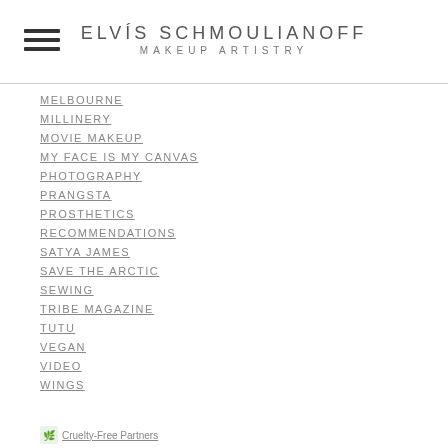ELVIS SCHMOULIANOFF MAKEUP ARTISTRY
MELBOURNE
MILLINERY
MOVIE MAKEUP
MY FACE IS MY CANVAS
PHOTOGRAPHY
PRANGSTA
PROSTHETICS
RECOMMENDATIONS
SATYA JAMES
SAVE THE ARCTIC
SEWING
TRIBE MAGAZINE
TUTU
VEGAN
VIDEO
WINGS
[Figure (logo): Cruelty-Free Partners logo with text link]